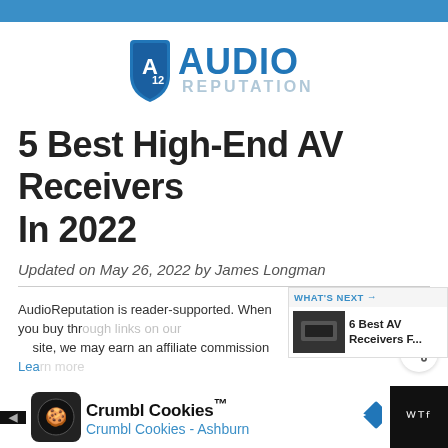[Figure (logo): Audio Reputation logo: blue shield with 'A12' inside, next to 'AUDIO REPUTATION' text in blue and grey]
5 Best High-End AV Receivers In 2022
Updated on May 26, 2022 by James Longman
AudioReputation is reader-supported. When you buy through links on our site, we may earn an affiliate commission Lea...
[Figure (other): What's Next box showing '6 Best AV Receivers F...' with thumbnail image]
[Figure (other): Bottom advertisement banner: Crumbl Cookies - Ashburn]